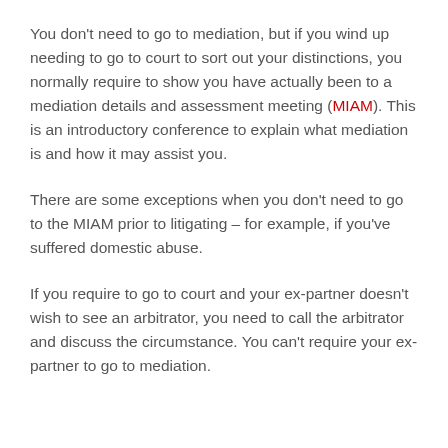You don't need to go to mediation, but if you wind up needing to go to court to sort out your distinctions, you normally require to show you have actually been to a mediation details and assessment meeting (MIAM). This is an introductory conference to explain what mediation is and how it may assist you.
There are some exceptions when you don't need to go to the MIAM prior to litigating – for example, if you've suffered domestic abuse.
If you require to go to court and your ex-partner doesn't wish to see an arbitrator, you need to call the arbitrator and discuss the circumstance. You can't require your ex-partner to go to mediation.